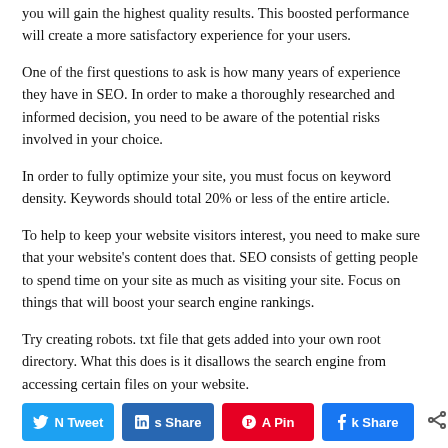you will gain the highest quality results. This boosted performance will create a more satisfactory experience for your users.
One of the first questions to ask is how many years of experience they have in SEO. In order to make a thoroughly researched and informed decision, you need to be aware of the potential risks involved in your choice.
In order to fully optimize your site, you must focus on keyword density. Keywords should total 20% or less of the entire article.
To help to keep your website visitors interest, you need to make sure that your website's content does that. SEO consists of getting people to spend time on your site as much as visiting your site. Focus on things that will boost your search engine rankings.
Try creating robots. txt file that gets added into your own root directory. What this does is it disallows the search engine from accessing certain files on your website.
Find a name for your domain that relates perfectly to your product and is easily remembered. If people will only hear your site name
[Figure (infographic): Social sharing bar with Twitter, LinkedIn, Pinterest, and Facebook share buttons, plus a share count showing 0 SHARES]